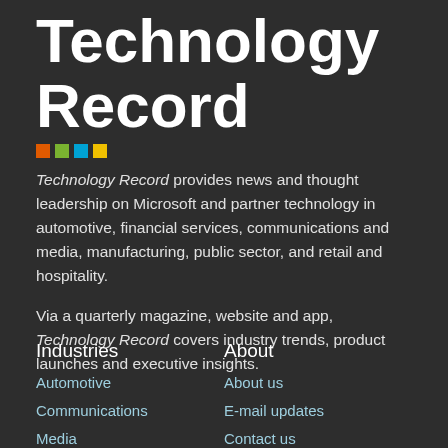Technology Record
[Figure (other): Four colored squares: orange, green, blue, yellow — Microsoft logo colors]
Technology Record provides news and thought leadership on Microsoft and partner technology in automotive, financial services, communications and media, manufacturing, public sector, and retail and hospitality.
Via a quarterly magazine, website and app, Technology Record covers industry trends, product launches and executive insights.
Industries
About
Automotive
About us
Communications
E-mail updates
Media
Contact us
Financial services
Advertise
Manufacturing